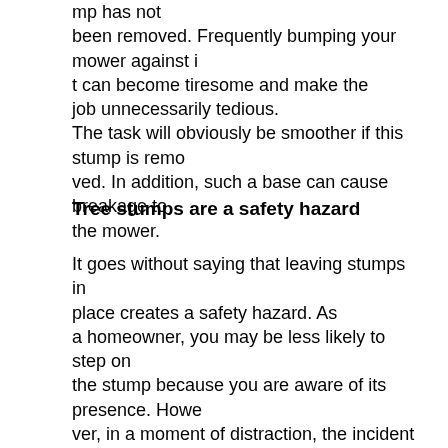mp has not been removed. Frequently bumping your mower against it can become tiresome and make the job unnecessarily tedious. The task will obviously be smoother if this stump is removed. In addition, such a base can cause breakage to the mower.
Tree stumps are a safety hazard
It goes without saying that leaving stumps in place creates a safety hazard. As a homeowner, you may be less likely to step on the stump because you are aware of its presence. However, in a moment of distraction, the incident can also happen to you. And your visitors, or your children, or theirs running across the field, may stumble against it,